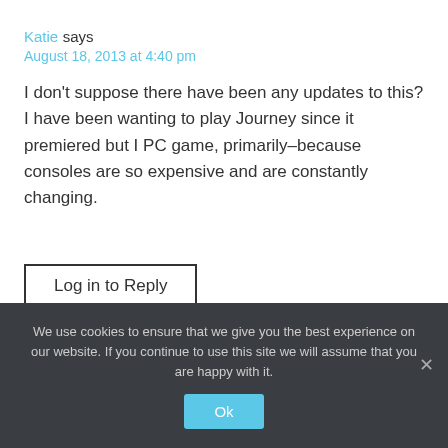Katie says
August 18, 2013 at 4:40 pm
I don't suppose there have been any updates to this? I have been wanting to play Journey since it premiered but I PC game, primarily–because consoles are so expensive and are constantly changing.
Log in to Reply
We use cookies to ensure that we give you the best experience on our website. If you continue to use this site we will assume that you are happy with it.
Ok